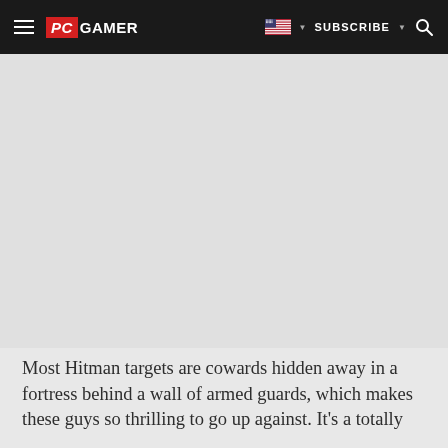PC GAMER | SUBSCRIBE
[Figure (other): Large gray image placeholder area below the navigation bar]
Most Hitman targets are cowards hidden away in a fortress behind a wall of armed guards, which makes these guys so thrilling to go up against. It's a totally